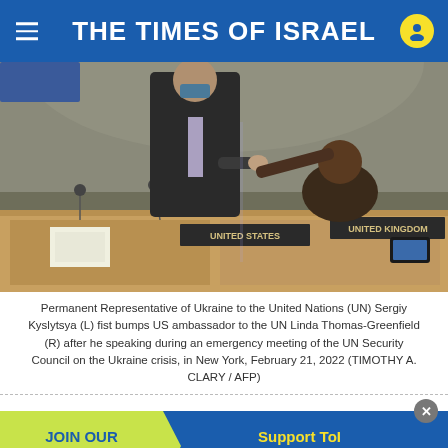THE TIMES OF ISRAEL
[Figure (photo): Two people at the UN Security Council chamber fist bumping across seats labeled UNITED STATES and UNITED KINGDOM]
Permanent Representative of Ukraine to the United Nations (UN) Sergiy Kyslytsya (L) fist bumps US ambassador to the UN Linda Thomas-Greenfield (R) after he speaking during an emergency meeting of the UN Security Council on the Ukraine crisis, in New York, February 21, 2022 (TIMOTHY A. CLARY / AFP)
Ukraine calls for action
[Figure (screenshot): Advertisement banner: JOIN OUR COMMUNITY on yellow-green background with blue arrow, Support ToI and remove ads on blue background]